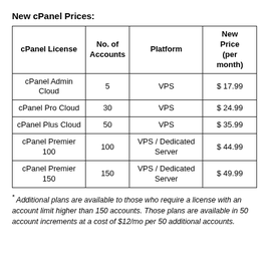New cPanel Prices:
| cPanel License | No. of Accounts | Platform | New Price (per month) |
| --- | --- | --- | --- |
| cPanel Admin Cloud | 5 | VPS | $ 17.99 |
| cPanel Pro Cloud | 30 | VPS | $ 24.99 |
| cPanel Plus Cloud | 50 | VPS | $ 35.99 |
| cPanel Premier 100 | 100 | VPS / Dedicated Server | $ 44.99 |
| cPanel Premier 150 | 150 | VPS / Dedicated Server | $ 49.99 |
* Additional plans are available to those who require a license with an account limit higher than 150 accounts. Those plans are available in 50 account increments at a cost of $12/mo per 50 additional accounts.